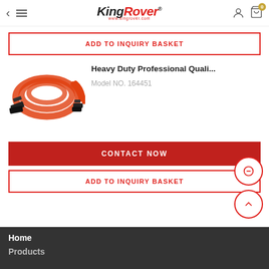KingRover
ADD TO INQUIRY BASKET
[Figure (photo): Red jumper/booster cables coiled up with black clamps at both ends]
Heavy Duty Professional Quali...
Model NO. 164451
CONTACT NOW
ADD TO INQUIRY BASKET
Home
Products